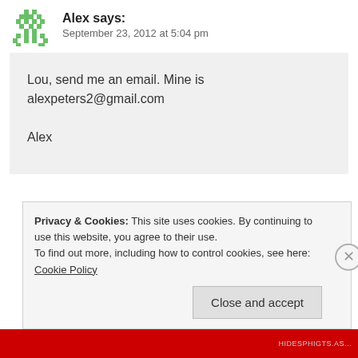Alex says: September 23, 2012 at 5:04 pm
Lou, send me an email. Mine is alexpeters2@gmail.com

Alex
↪ Reply
LuAnn says: September 23, 2012 at 5:19 pm
Privacy & Cookies: This site uses cookies. By continuing to use this website, you agree to their use.
To find out more, including how to control cookies, see here: Cookie Policy
Close and accept